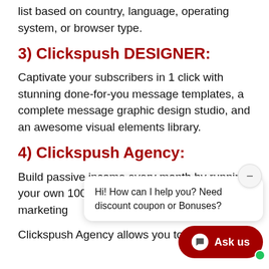You can send messages to segments of your list based on country, language, operating system, or browser type.
3) Clickspush DESIGNER:
Captivate your subscribers in 1 click with stunning done-for-you message templates, a complete message graphic design studio, and an awesome visual elements library.
4) Clickspush Agency:
Build passive income every month by running your own 100% profit list-building and marketing
Clickspush Agency allows you to sell list
[Figure (screenshot): Chat widget overlay with message 'Hi! How can I help you? Need discount coupon or Bonuses?' and a red 'Ask us' button with green online indicator dot and minimize button.]